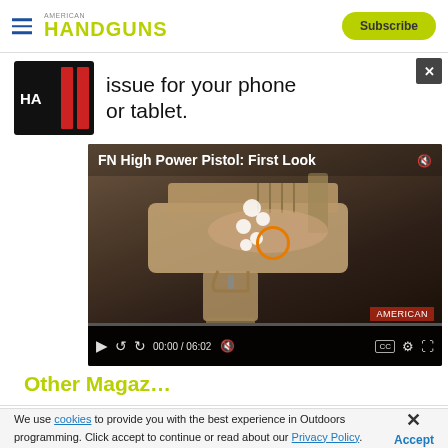HANDGUNS | Subscribe
[Figure (screenshot): Handguns magazine logo with red bars icon]
issue for your phone or tablet.
[Figure (screenshot): Video player showing FN High Power Pistol: First Look, duration 06:02, at 00:00]
Other Magaz...
We use cookies to provide you with the best experience in Outdoors programming. Click accept to continue or read about our Privacy Policy.
[Figure (screenshot): Federal HIGH OVERALL MORE WINS advertisement banner]